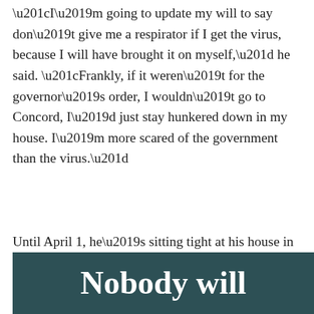“I’m going to update my will to say don’t give me a respirator if I get the virus, because I will have brought it on myself,” he said. “Frankly, if it weren’t for the governor’s order, I wouldn’t go to Concord, I’d just stay hunkered down in my house. I’m more scared of the government than the virus.”
Until April 1, he’s sitting tight at his house in Keene, where the lights are on and Nobody’s home.
Read More
Nobody will